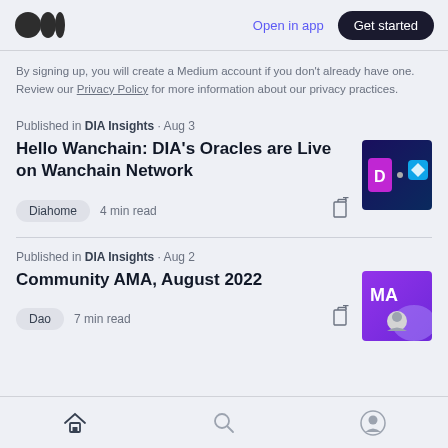Medium logo | Open in app | Get started
By signing up, you will create a Medium account if you don't already have one. Review our Privacy Policy for more information about our privacy practices.
Published in DIA Insights · Aug 3
Hello Wanchain: DIA's Oracles are Live on Wanchain Network
Diahome  4 min read
[Figure (illustration): Thumbnail image with DIA and Wanchain logos on dark background]
Published in DIA Insights · Aug 2
Community AMA, August 2022
Dao  7 min read
[Figure (illustration): Thumbnail with MA text and avatar on purple gradient background]
Home | Search | Profile